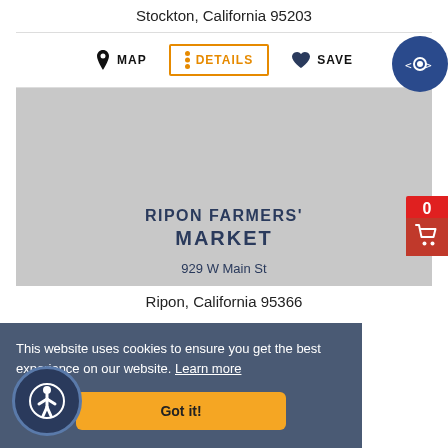Stockton, California 95203
[Figure (screenshot): Action bar with MAP, DETAILS (orange border), and SAVE buttons]
[Figure (photo): Gray placeholder image representing RIPON FARMERS' MARKET at 929 W Main St]
RIPON FARMERS' MARKET
929 W Main St
Ripon, California 95366
This website uses cookies to ensure you get the best experience on our website. Learn more
Got it!